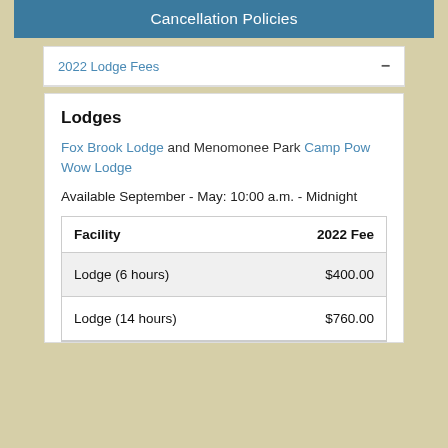Cancellation Policies
2022 Lodge Fees
Lodges
Fox Brook Lodge and Menomonee Park Camp Pow Wow Lodge
Available September - May: 10:00 a.m. - Midnight
| Facility | 2022 Fee |
| --- | --- |
| Lodge (6 hours) | $400.00 |
| Lodge (14 hours) | $760.00 |